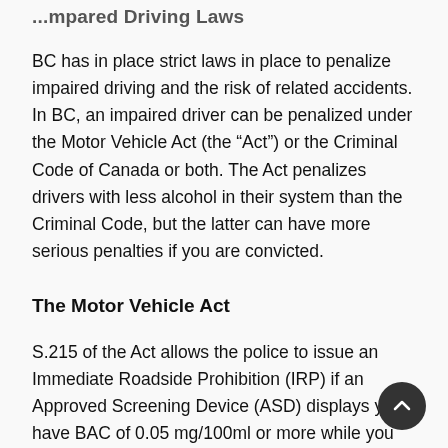...Impaired Driving Laws
BC has in place strict laws in place to penalize impaired driving and the risk of related accidents. In BC, an impaired driver can be penalized under the Motor Vehicle Act (the “Act”) or the Criminal Code of Canada or both. The Act penalizes drivers with less alcohol in their system than the Criminal Code, but the latter can have more serious penalties if you are convicted.
The Motor Vehicle Act
S.215 of the Act allows the police to issue an Immediate Roadside Prohibition (IRP) if an Approved Screening Device (ASD) displays you have BAC of 0.05 mg/100ml or more while you have care and control of a motor vehicle. A 12 or 24 hour